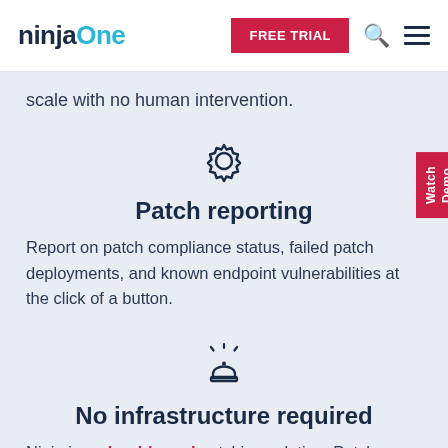ninjaOne — FREE TRIAL
scale with no human intervention.
[Figure (illustration): Gear/settings icon]
Patch reporting
Report on patch compliance status, failed patch deployments, and known endpoint vulnerabilities at the click of a button.
[Figure (illustration): Alarm/alert icon]
No infrastructure required
Ninja is a cloud-based patching solution. Patch any endpoint with an internet connection - no